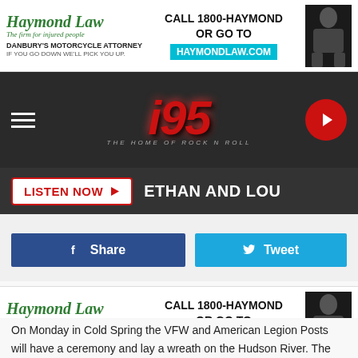[Figure (other): Haymond Law advertisement banner: 'Haymond Law - The firm for injured people. DANBURY'S MOTORCYCLE ATTORNEY IF YOU GO DOWN WE'LL PICK YOU UP. CALL 1800-HAYMOND OR GO TO HAYMONDLAW.COM']
i95 THE HOME OF ROCK N ROLL
LISTEN NOW ▶  ETHAN AND LOU
Share  Tweet
MEMORIAL DAY
On Monday in Cold Spring the VFW and American Legion Posts will have a ceremony and lay a wreath on the Hudson River. The ceremony starts at 10 AM at Main Street
[Figure (other): Haymond Law advertisement banner (bottom): 'Haymond Law - The firm for injured people. DANBURY'S MOTORCYCLE ATTORNEY IF YOU GO DOWN WE'LL PICK YOU UP. CALL 1800-HAYMOND OR GO TO HAYMONDLAW.COM']